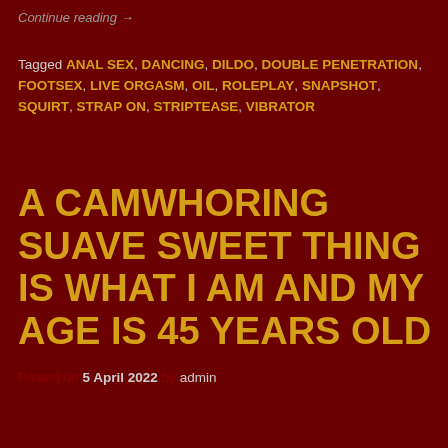Continue reading →
Tagged ANAL SEX, DANCING, DILDO, DOUBLE PENETRATION, FOOTSEX, LIVE ORGASM, OIL, ROLEPLAY, SNAPSHOT, SQUIRT, STRAP ON, STRIPTEASE, VIBRATOR
A CAMWHORING SUAVE SWEET THING IS WHAT I AM AND MY AGE IS 45 YEARS OLD
Posted on 5 April 2022 by admin